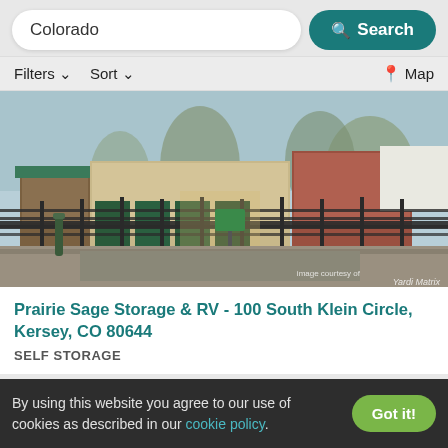Colorado
Search
Filters
Sort
Map
[Figure (photo): Exterior photo of Prairie Sage Storage & RV facility showing gated entrance with metal fencing, storage buildings, and trees in background. Image courtesy of Yardi Matrix watermark visible.]
Prairie Sage Storage & RV - 100 South Klein Circle, Kersey, CO 80644
SELF STORAGE
By using this website you agree to our use of cookies as described in our cookie policy.
Got it!